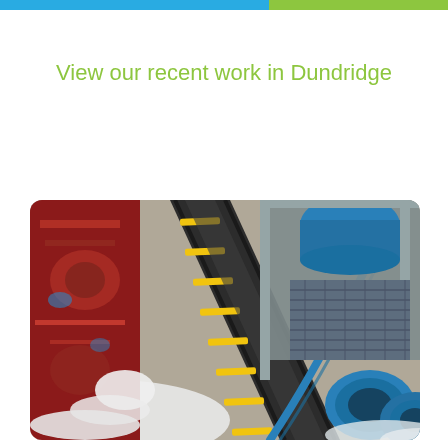View our recent work in Dundridge
[Figure (photo): Industrial rug cleaning machine in operation. On the left side, a colorful red patterned rug is being washed with soapy foam/water. A conveyor-style track with yellow markers runs diagonally through the center of the image. On the right side, blue industrial cleaning equipment including circular brush pads and a large blue container are visible.]